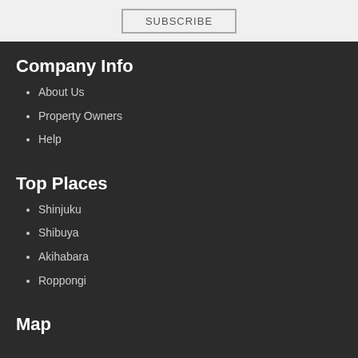Company Info
About Us
Property Owners
Help
Top Places
Shinjuku
Shibuya
Akihabara
Roppongi
Map